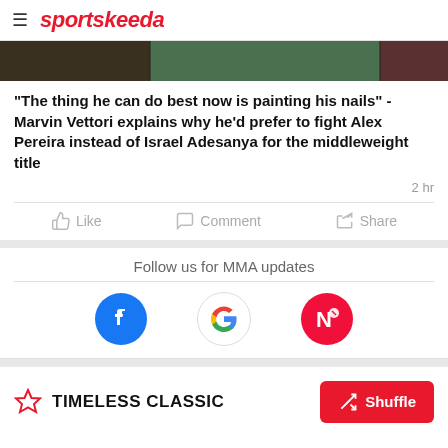sportskeeda
[Figure (photo): Cropped banner image showing MMA/sports figures]
"The thing he can do best now is painting his nails" - Marvin Vettori explains why he'd prefer to fight Alex Pereira instead of Israel Adesanya for the middleweight title
2 hr
Like   Comment   Share
Follow us for MMA updates
[Figure (logo): Facebook, Google, and Apple News logos for following]
TIMELESS CLASSIC
Shuffle